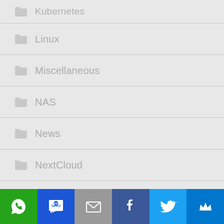Kubernetes
Linux
Miscellaneous
NAS
News
NextCloud
No category
OpenStack
[Figure (infographic): Social share bar with 6 buttons: WhatsApp (green), SMS (blue), Email (gray), Facebook (dark blue), Twitter (light blue), Crown/Kingsumo (dark blue)]